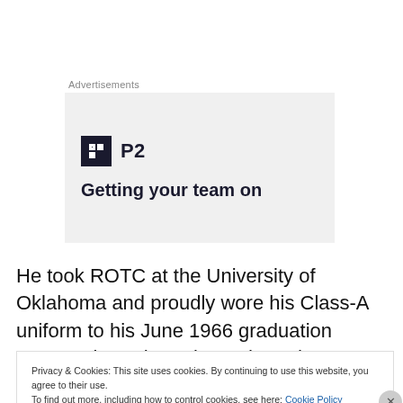Advertisements
[Figure (screenshot): Advertisement banner with P2 logo (black square icon with white H shape and text 'P2') and headline text 'Getting your team on' on a light gray background]
He took ROTC at the University of Oklahoma and proudly wore his Class-A uniform to his June 1966 graduation ceremonies—the only graduated to wear a military uniform
Privacy & Cookies: This site uses cookies. By continuing to use this website, you agree to their use.
To find out more, including how to control cookies, see here: Cookie Policy
Close and accept